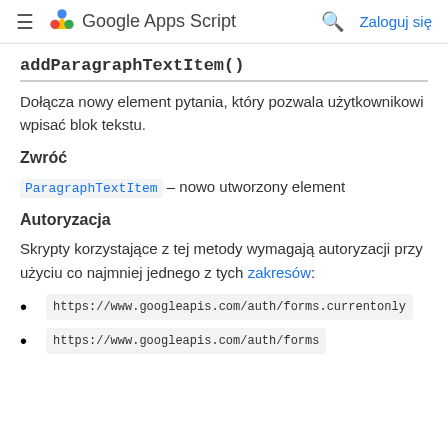≡  Google Apps Script  🔍  Zaloguj się
addParagraphTextItem()
Dołącza nowy element pytania, który pozwala użytkownikowi wpisać blok tekstu.
Zwróć
ParagraphTextItem – nowo utworzony element
Autoryzacja
Skrypty korzystające z tej metody wymagają autoryzacji przy użyciu co najmniej jednego z tych zakresów:
https://www.googleapis.com/auth/forms.currentonly
https://www.googleapis.com/auth/forms